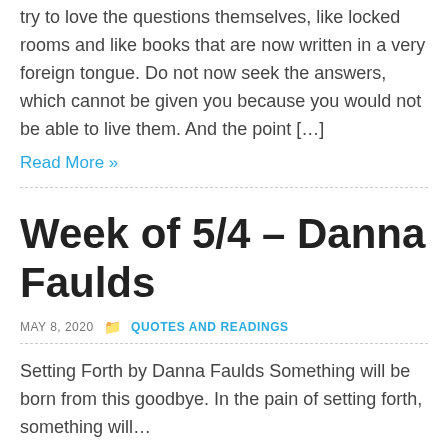try to love the questions themselves, like locked rooms and like books that are now written in a very foreign tongue. Do not now seek the answers, which cannot be given you because you would not be able to live them. And the point […]
Read More »
Week of 5/4 – Danna Faulds
MAY 8, 2020   📁 QUOTES AND READINGS
Setting Forth by Danna Faulds Something will be born from this goodbye. In the pain of setting forth, something will…